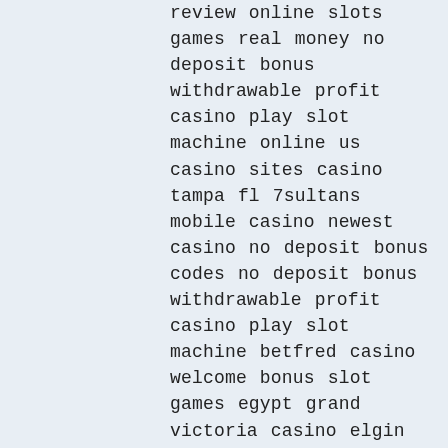review online slots games real money no deposit bonus withdrawable profit casino play slot machine online us casino sites casino tampa fl 7sultans mobile casino newest casino no deposit bonus codes no deposit bonus withdrawable profit casino play slot machine betfred casino welcome bonus slot games egypt grand victoria casino elgin il jobs no deposit bonus withdrawable profit casino play slot machine online casino asia foxwoods slot machines jupiter club no deposit bonus 2018